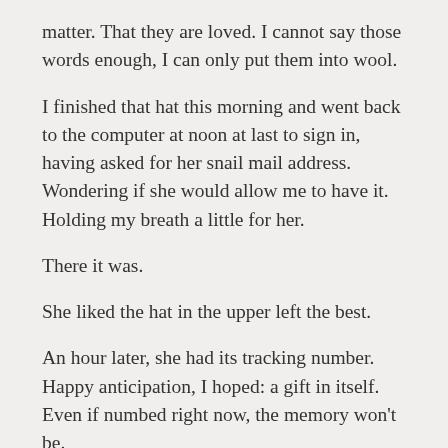matter. That they are loved. I cannot say those words enough, I can only put them into wool.
I finished that hat this morning and went back to the computer at noon at last to sign in, having asked for her snail mail address. Wondering if she would allow me to have it. Holding my breath a little for her.
There it was.
She liked the hat in the upper left the best.
An hour later, she had its tracking number. Happy anticipation, I hoped: a gift in itself. Even if numbed right now, the memory won't be.
And the burgundy-red hat waits its turn for its own recipient, ready.